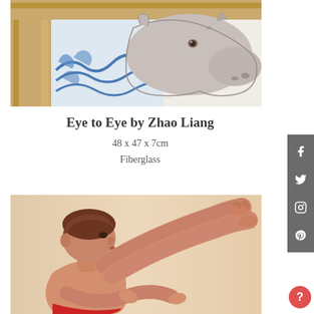[Figure (photo): Artwork photo: a rhinoceros head sculpted in fiberglass, partially emerging from a wooden frame with blue wave decorative painting behind it, on a white background.]
Eye to Eye by Zhao Liang
48 x 47 x 7cm
Fiberglass
[Figure (photo): Artwork photo: a realistic painted figure of a young person with short brown hair, viewed from the side, with legs raised and arms crossed, against a warm beige background.]